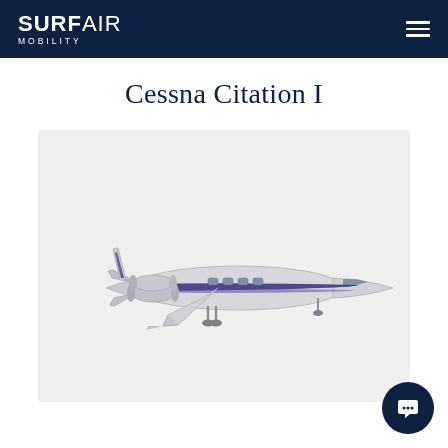SURF AIR MOBILITY
Cessna Citation I
[Figure (illustration): Side-view illustration of a Cessna Citation I small business jet aircraft with white fuselage and blue/purple stripe detail, shown against a light gray background.]